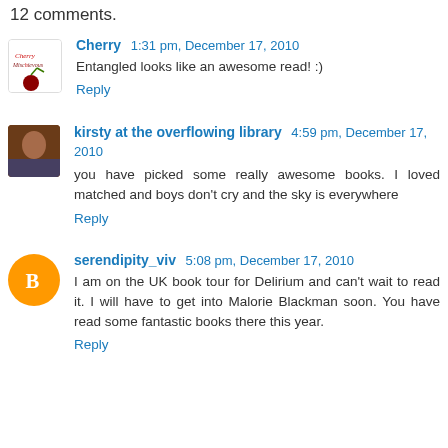12 comments.
Cherry  1:31 pm, December 17, 2010
Entangled looks like an awesome read! :)
Reply
kirsty at the overflowing library  4:59 pm, December 17, 2010
you have picked some really awesome books. I loved matched and boys don't cry and the sky is everywhere
Reply
serendipity_viv  5:08 pm, December 17, 2010
I am on the UK book tour for Delirium and can't wait to read it. I will have to get into Malorie Blackman soon. You have read some fantastic books there this year.
Reply